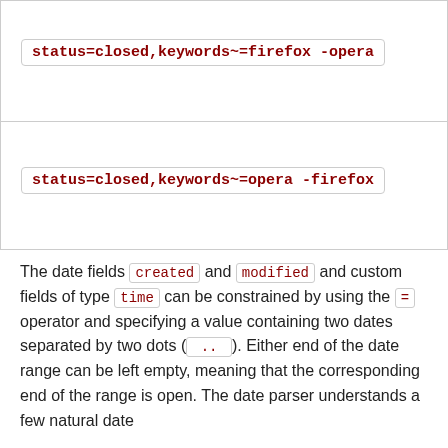[Figure (screenshot): Code block showing: status=closed,keywords~=firefox -opera]
[Figure (screenshot): Code block showing: status=closed,keywords~=opera -firefox]
The date fields created and modified and custom fields of type time can be constrained by using the = operator and specifying a value containing two dates separated by two dots ( .. ). Either end of the date range can be left empty, meaning that the corresponding end of the range is open. The date parser understands a few natural date